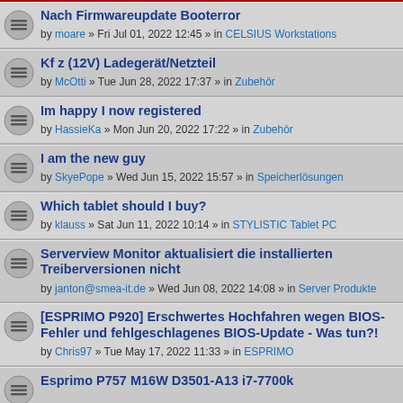Nach Firmwareupdate Booterror by moare » Fri Jul 01, 2022 12:45 » in CELSIUS Workstations
Kf z (12V) Ladegerät/Netzteil by McOtti » Tue Jun 28, 2022 17:37 » in Zubehör
Im happy I now registered by HassieKa » Mon Jun 20, 2022 17:22 » in Zubehör
I am the new guy by SkyePope » Wed Jun 15, 2022 15:57 » in Speicherlösungen
Which tablet should I buy? by klauss » Sat Jun 11, 2022 10:14 » in STYLISTIC Tablet PC
Serverview Monitor aktualisiert die installierten Treiberversionen nicht by janton@smea-it.de » Wed Jun 08, 2022 14:08 » in Server Produkte
[ESPRIMO P920] Erschwertes Hochfahren wegen BIOS-Fehler und fehlgeschlagenes BIOS-Update - Was tun?! by Chris97 » Tue May 17, 2022 11:33 » in ESPRIMO
Esprimo P757 M16W D3501-A13 i7-7700k